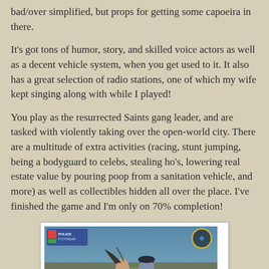bad/over simplified, but props for getting some capoeira in there.
It's got tons of humor, story, and skilled voice actors as well as a decent vehicle system, when you get used to it. It also has a great selection of radio stations, one of which my wife kept singing along with while I played!
You play as the resurrected Saints gang leader, and are tasked with violently taking over the open-world city. There are a multitude of extra activities (racing, stunt jumping, being a bodyguard to celebs, stealing ho's, lowering real estate value by pouring poop from a sanitation vehicle, and more) as well as collectibles hidden all over the place. I've finished the game and I'm only on 70% completion!
[Figure (screenshot): In-game screenshot of Saints Row showing two characters fighting on a road, with HUD elements visible including a blue player info panel in the top-left and a circular minimap/icon in the top-right.]